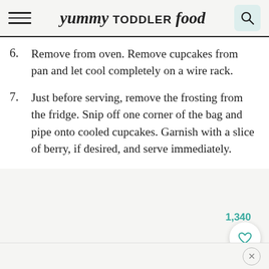yummy TODDLER food
6. Remove from oven. Remove cupcakes from pan and let cool completely on a wire rack.
7. Just before serving, remove the frosting from the fridge. Snip off one corner of the bag and pipe onto cooled cupcakes. Garnish with a slice of berry, if desired, and serve immediately.
1,340